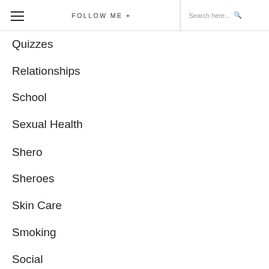≡  FOLLOW ME +  Search here...
Quizzes
Relationships
School
Sexual Health
Shero
Sheroes
Skin Care
Smoking
Social
Sports
Staying Healthy
STEM